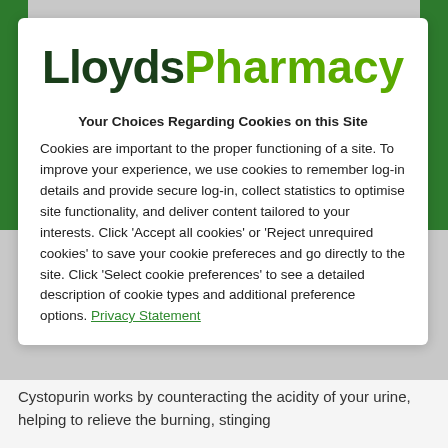LloydsPharmacy
Your Choices Regarding Cookies on this Site
Cookies are important to the proper functioning of a site. To improve your experience, we use cookies to remember log-in details and provide secure log-in, collect statistics to optimise site functionality, and deliver content tailored to your interests. Click 'Accept all cookies' or 'Reject unrequired cookies' to save your cookie prefereces and go directly to the site. Click 'Select cookie preferences' to see a detailed description of cookie types and additional preference options. Privacy Statement
Cystopurin works by counteracting the acidity of your urine, helping to relieve the burning, stinging